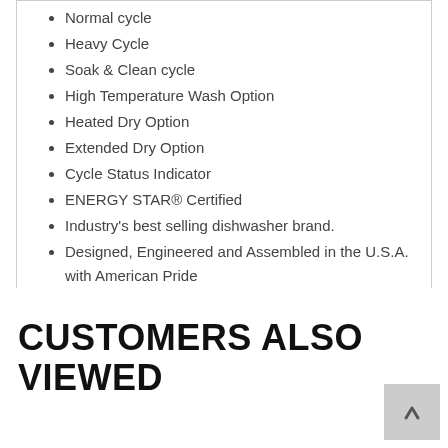Normal cycle
Heavy Cycle
Soak & Clean cycle
High Temperature Wash Option
Heated Dry Option
Extended Dry Option
Cycle Status Indicator
ENERGY STAR® Certified
Industry's best selling dishwasher brand.
Designed, Engineered and Assembled in the U.S.A. with American Pride
CUSTOMERS ALSO VIEWED